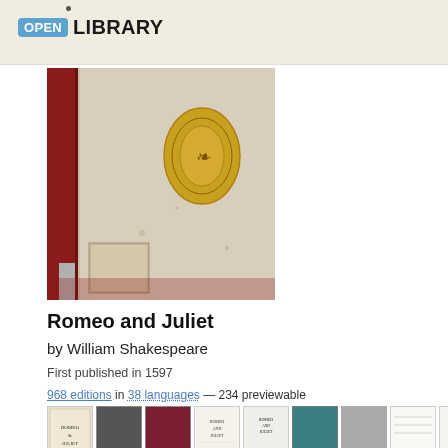OPEN LIBRARY
[Figure (photo): Close-up photo of an old book cover with red spine and beige/cream board, gold oval emblem on cover, with a worn label at lower left]
Romeo and Juliet
by William Shakespeare
First published in 1597
968 editions in 38 languages — 234 previewable
[Figure (photo): Row of small thumbnail book cover images for various editions of Romeo and Juliet]
[Figure (photo): Partial view of another book cover at the bottom of the page, dark reddish-brown color]